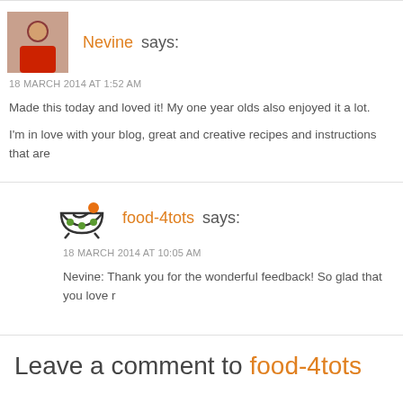Nevine says:
18 MARCH 2014 AT 1:52 AM
Made this today and loved it! My one year olds also enjoyed it a lot.
I'm in love with your blog, great and creative recipes and instructions that are
[Figure (logo): food-4tots logo: a bowl with dots and a checkmark/spoon design]
food-4tots says:
18 MARCH 2014 AT 10:05 AM
Nevine: Thank you for the wonderful feedback! So glad that you love r
Leave a comment to food-4tots